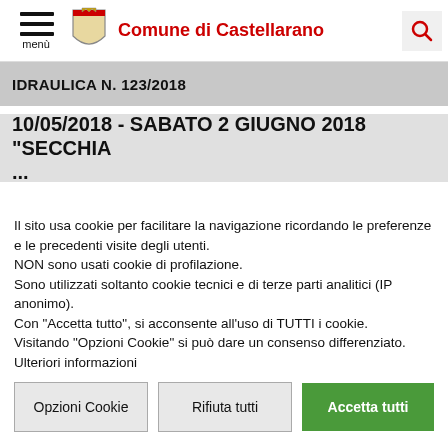Comune di Castellarano
IDRAULICA N. 123/2018
10/05/2018 - SABATO 2 GIUGNO 2018 "SECCHIA ..."
Il sito usa cookie per facilitare la navigazione ricordando le preferenze e le precedenti visite degli utenti.
NON sono usati cookie di profilazione.
Sono utilizzati soltanto cookie tecnici e di terze parti analitici (IP anonimo).
Con "Accetta tutto", si acconsente all'uso di TUTTI i cookie.
Visitando "Opzioni Cookie" si può dare un consenso differenziato.
Ulteriori informazioni